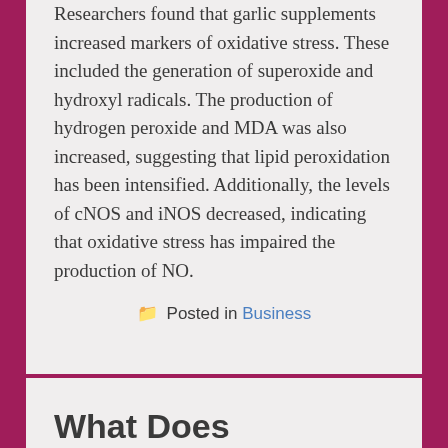Researchers found that garlic supplements increased markers of oxidative stress. These included the generation of superoxide and hydroxyl radicals. The production of hydrogen peroxide and MDA was also increased, suggesting that lipid peroxidation has been intensified. Additionally, the levels of cNOS and iNOS decreased, indicating that oxidative stress has impaired the production of NO.
Posted in Business
What Does Volatility Mean...